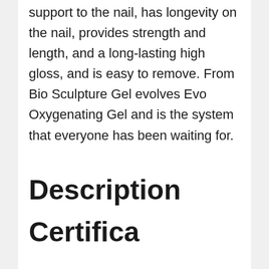support to the nail, has longevity on the nail, provides strength and length, and a long-lasting high gloss, and is easy to remove. From Bio Sculpture Gel evolves Evo Oxygenating Gel and is the system that everyone has been waiting for.
Description
Certifica...